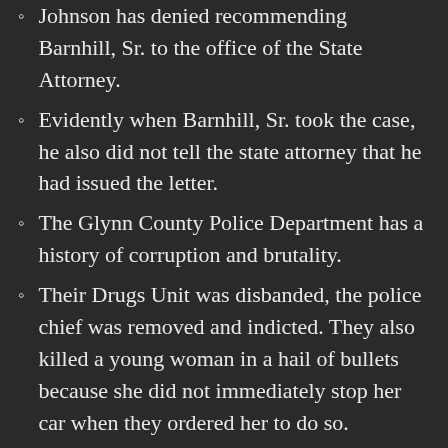Johnson has denied recommending Barnhill, Sr. to the office of the State Attorney.
Evidently when Barnhill, Sr. took the case, he also did not tell the state attorney that he had issued the letter.
The Glynn County Police Department has a history of corruption and brutality.
Their Drugs Unit was disbanded, the police chief was removed and indicted. They also killed a young woman in a hail of bullets because she did not immediately stop her car when they ordered her to do so.